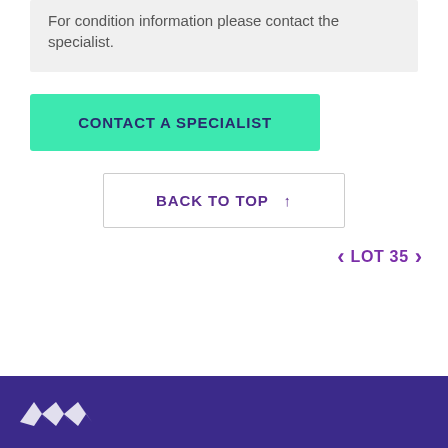For condition information please contact the specialist.
CONTACT A SPECIALIST
BACK TO TOP ↑
< LOT 35 >
[Figure (logo): White angular geometric logo on dark purple footer bar]